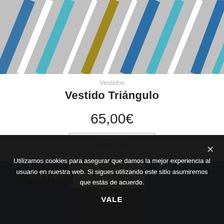[Figure (photo): Top portion of a striped dress with vertical blue, teal, white and gold stripes on grey background]
Vestidos
Vestido Triángulo
65,00€
Leer más
[Figure (photo): Product image showing a blue and grey garment, with AGOTADO (sold out) badge overlay]
AGOTADO
Utilizamos cookies para asegurar que damos la mejor experiencia al usuario en nuestra web. Si sigues utilizando este sitio asumiremos que estás de acuerdo.
VALE